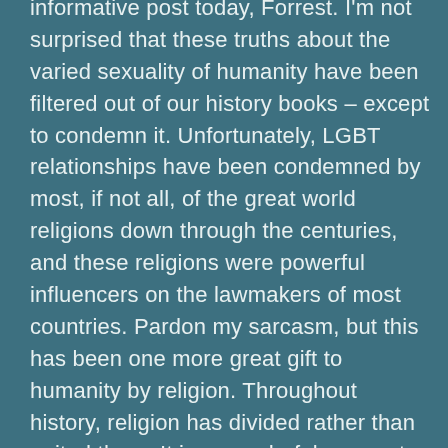informative post today, Forrest. I'm not surprised that these truths about the varied sexuality of humanity have been filtered out of our history books – except to condemn it. Unfortunately, LGBT relationships have been condemned by most, if not all, of the great world religions down through the centuries, and these religions were powerful influencers on the lawmakers of most countries. Pardon my sarcasm, but this has been one more great gift to humanity by religion. Throughout history, religion has divided rather than united them. It is a wonderful reason to turn my back on religion and find other ways to nurture my spirituality. I hope you have a great day on tour, Forrest!